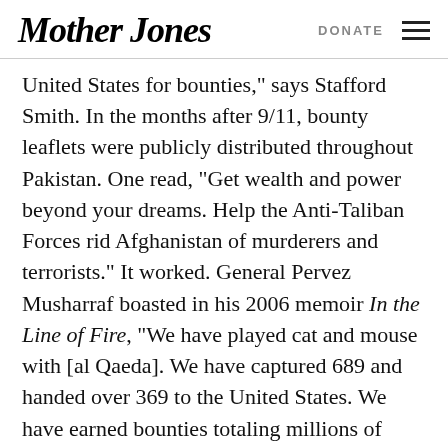Mother Jones | DONATE
United States for bounties," says Stafford Smith. In the months after 9/11, bounty leaflets were publicly distributed throughout Pakistan. One read, "Get wealth and power beyond your dreams. Help the Anti-Taliban Forces rid Afghanistan of murderers and terrorists." It worked. General Pervez Musharraf boasted in his 2006 memoir In the Line of Fire, "We have played cat and mouse with [al Qaeda]. We have captured 689 and handed over 369 to the United States. We have earned bounties totaling millions of dollars." $5,000 is still the going rate for snitching on a suspected terrorist there. And this a hard incentive for many to pass up; based on Pakistan's per-capita GDP this payoff is equivalent to $250,000 in the